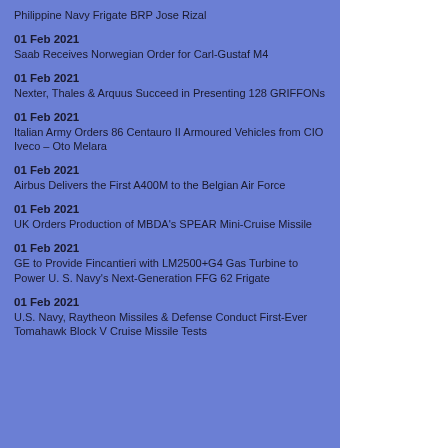Philippine Navy Frigate BRP Jose Rizal
01 Feb 2021
Saab Receives Norwegian Order for Carl-Gustaf M4
01 Feb 2021
Nexter, Thales & Arquus Succeed in Presenting 128 GRIFFONs
01 Feb 2021
Italian Army Orders 86 Centauro II Armoured Vehicles from CIO Iveco – Oto Melara
01 Feb 2021
Airbus Delivers the First A400M to the Belgian Air Force
01 Feb 2021
UK Orders Production of MBDA's SPEAR Mini-Cruise Missile
01 Feb 2021
GE to Provide Fincantieri with LM2500+G4 Gas Turbine to Power U. S. Navy's Next-Generation FFG 62 Frigate
01 Feb 2021
U.S. Navy, Raytheon Missiles & Defense Conduct First-Ever Tomahawk Block V Cruise Missile Tests